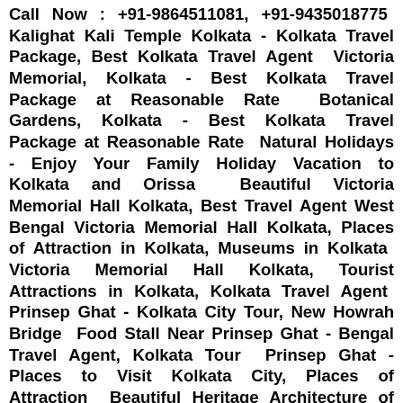Call Now : +91-9864511081, +91-9435018775 Kalighat Kali Temple Kolkata - Kolkata Travel Package, Best Kolkata Travel Agent Victoria Memorial, Kolkata - Best Kolkata Travel Package at Reasonable Rate Botanical Gardens, Kolkata - Best Kolkata Travel Package at Reasonable Rate Natural Holidays - Enjoy Your Family Holiday Vacation to Kolkata and Orissa Beautiful Victoria Memorial Hall Kolkata, Best Travel Agent West Bengal Victoria Memorial Hall Kolkata, Places of Attraction in Kolkata, Museums in Kolkata Victoria Memorial Hall Kolkata, Tourist Attractions in Kolkata, Kolkata Travel Agent Prinsep Ghat - Kolkata City Tour, New Howrah Bridge Food Stall Near Prinsep Ghat - Bengal Travel Agent, Kolkata Tour Prinsep Ghat - Places to Visit Kolkata City, Places of Attraction Beautiful Heritage Architecture of Howrah Junction Railway Station Puri Beach Orissa, Tourist Attractions in Puri, Travel Agent Puri Puri Beach Orissa, Best Travel Agent Puri, Places to Visit in Puri, Puri Tour Package Family Vacation at Puri Beach, Orissa Tourism, Orissa Tour Package Puri Sea Beach - Tourist Attractions Around Puri, Puri Tourism, Orissa tourist places Dhabalgiri Temple in Bhubaneswar Orissa, Places to Visit in Bhubaneswar Shanti Stupa, Dhauligiri Bhubaneswar Orissa, Architecture in Bhubaneswar, Tourist Attraction in Bhubaneswar Best Hotels Near Puri, Orissa, Hotel Booking Call Now : +91-9864511081